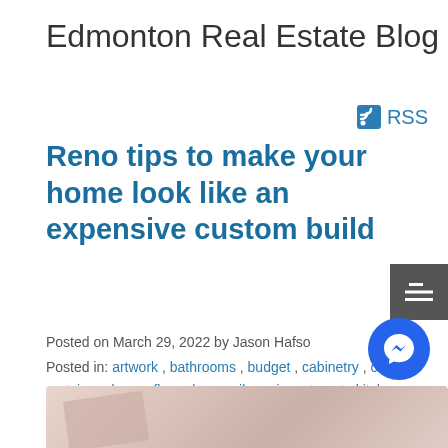Edmonton Real Estate Blog
RSS
Reno tips to make your home look like an expensive custom build
Posted on March 29, 2022 by Jason Hafso
Posted in: artwork , bathrooms , budget , cabinetry , ceiling , curtains , doors , floor , home , ikea , investment , kitchen , lighting , lights , photographs , renovation , room , table , tips , walls , windows , wood
[Figure (illustration): Social media share icons: Twitter and Facebook]
[Figure (photo): Bottom strip showing beginning of a home renovation photo with warm pinkish-beige tones]